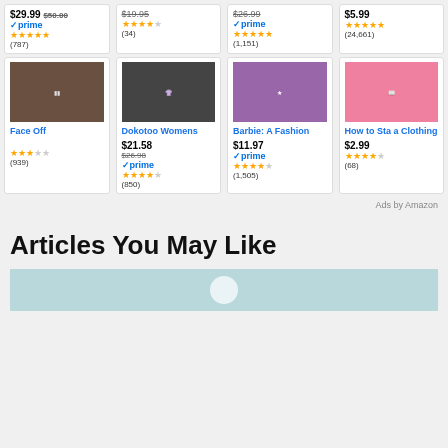[Figure (screenshot): Amazon product grid with 8 product cards in 2 rows of 4, showing prices, prime badges, star ratings, and review counts. Bottom section shows 'Articles You May Like' heading.]
Ads by Amazon
Articles You May Like